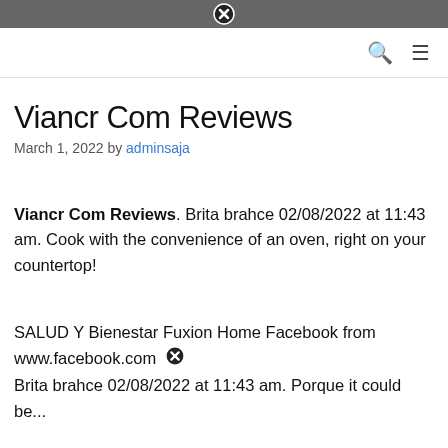× (close icon in header bar)
Viancr Com Reviews
March 1, 2022 by adminsaja
Viancr Com Reviews. Brita brahce 02/08/2022 at 11:43 am. Cook with the convenience of an oven, right on your countertop!
SALUD Y Bienestar Fuxion Home Facebook from www.facebook.com Brita brahce 02/08/2022 at 11:43 am. Porque it could be...